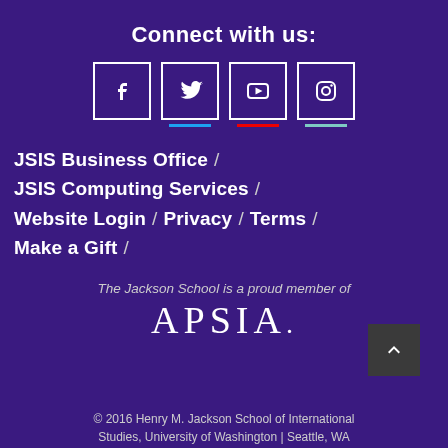Connect with us:
[Figure (infographic): Four social media icons in square outlines: Facebook (f), Twitter (bird), YouTube (play button), Instagram (camera). Twitter has a blue underline bar, YouTube has a red underline bar, Instagram has a teal underline bar.]
JSIS Business Office /
JSIS Computing Services /
Website Login / Privacy / Terms /
Make a Gift /
The Jackson School is a proud member of
[Figure (logo): APSIA logo in large serif white text]
© 2016 Henry M. Jackson School of International Studies, University of Washington | Seattle, WA